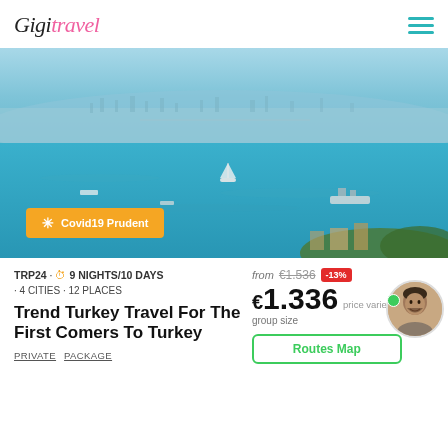Gigitrave
[Figure (photo): Aerial view of Istanbul and the Bosphorus strait with blue water, boats, and distant city skyline]
✳ Covid19 Prudent
TRP24 · 9 NIGHTS/10 DAYS · 4 CITIES · 12 PLACES
Trend Turkey Travel For The First Comers To Turkey
PRIVATE PACKAGE
from €1.536 -13%
€1.336 price varies by group size
Routes Map